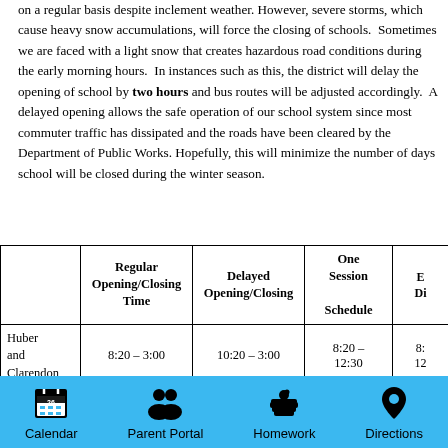on a regular basis despite inclement weather. However, severe storms, which cause heavy snow accumulations, will force the closing of schools.  Sometimes we are faced with a light snow that creates hazardous road conditions during the early morning hours.  In instances such as this, the district will delay the opening of school by two hours and bus routes will be adjusted accordingly.  A delayed opening allows the safe operation of our school system since most commuter traffic has dissipated and the roads have been cleared by the Department of Public Works. Hopefully, this will minimize the number of days school will be closed during the winter season.
|  | Regular Opening/Closing Time | Delayed Opening/Closing | One Session Schedule | Early Dismissal |
| --- | --- | --- | --- | --- |
| Huber and Clarendon | 8:20 – 3:00 | 10:20 – 3:00 | 8:20 – 12:30 | 8:…
12… |
| PK AM | 8:30 – 10:55 | NO SCHOOL | 8:30 – 10:10 | 8:…
16… |
[Figure (infographic): Footer navigation bar with four icons: Calendar (date 26), Parent Portal (two people), Homework (books with apple), Directions (map pin)]